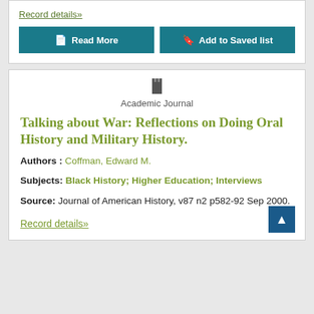Record details»
Read More | Add to Saved list
Academic Journal
Talking about War: Reflections on Doing Oral History and Military History.
Authors : Coffman, Edward M.
Subjects: Black History; Higher Education; Interviews
Source: Journal of American History, v87 n2 p582-92 Sep 2000.
Record details»